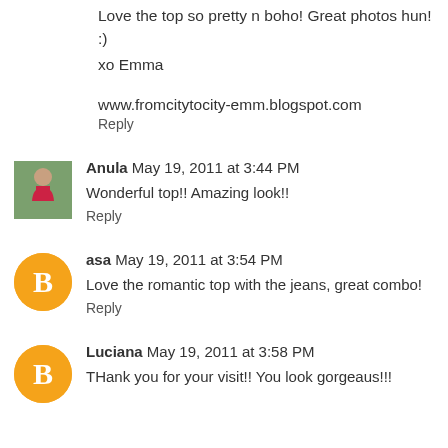Love the top so pretty n boho! Great photos hun! :)
xo Emma
www.fromcitytocity-emm.blogspot.com
Reply
Anula  May 19, 2011 at 3:44 PM
Wonderful top!! Amazing look!!
Reply
asa  May 19, 2011 at 3:54 PM
Love the romantic top with the jeans, great combo!
Reply
Luciana  May 19, 2011 at 3:58 PM
THank you for your visit!! You look gorgeaus!!!